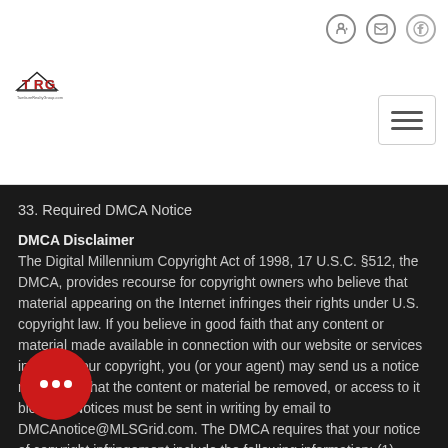TamburoRealtyGroup.com navigation header with logo and icons
33. Required DMCA Notice
DMCA Disclaimer
The Digital Millennium Copyright Act of 1998, 17 U.S.C. §512, the DMCA, provides recourse for copyright owners who believe that material appearing on the Internet infringes their rights under U.S. copyright law. If you believe in good faith that any content or material made available in connection with our website or services infringes your copyright, you (or your agent) may send us a notice requesting that the content or material be removed, or access to it blocked. Notices must be sent in writing by email to DMCAnotice@MLSGrid.com. The DMCA requires that your notice of copyright infringement include the following information: (1) description of the copyrighted work that is the